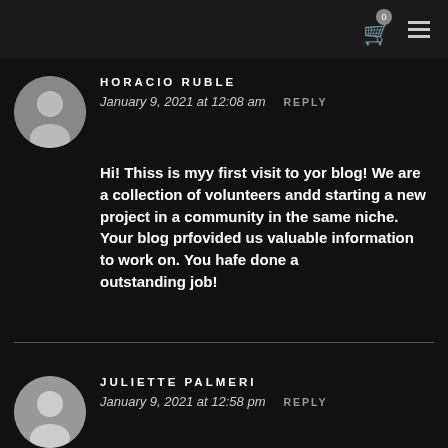0 [cart icon] [menu icon]
HORACIO RUBLE
January 9, 2021 at 12:08 am  REPLY
Hi! Thiss is myy first visit to yor blog! We are a collection of volunteers andd starting a new project in a community in the same niche.
Your blog prfovided us valuable information to work on. You hafe done a outstanding job!
JULIETTE PALMERI
January 9, 2021 at 12:58 pm  REPLY